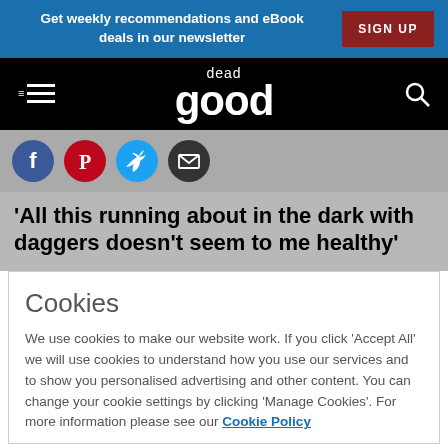Get weekly recommendations and eBook deals in our newsletter   SIGN UP
[Figure (logo): Dead Good website logo — hamburger menu icon on left, 'dead good' logo in center white on black, search icon on right]
[Figure (infographic): Social sharing icons: Facebook (blue circle), Pinterest (red circle), Twitter (cyan circle), Email (dark circle)]
'All this running about in the dark with daggers doesn't seem to me healthy'
Cookies
We use cookies to make our website work. If you click 'Accept All' we will use cookies to understand how you use our services and to show you personalised advertising and other content. You can change your cookie settings by clicking 'Manage Cookies'. For more information please see our Cookie Policy